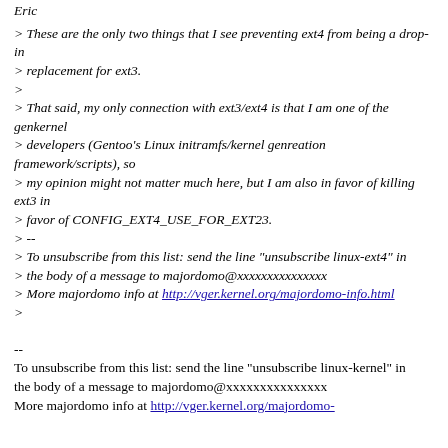Eric
> These are the only two things that I see preventing ext4 from being a drop-in
> replacement for ext3.
>
> That said, my only connection with ext3/ext4 is that I am one of the genkernel
> developers (Gentoo's Linux initramfs/kernel genreation framework/scripts), so
> my opinion might not matter much here, but I am also in favor of killing ext3 in
> favor of CONFIG_EXT4_USE_FOR_EXT23.
> --
> To unsubscribe from this list: send the line "unsubscribe linux-ext4" in
> the body of a message to majordomo@xxxxxxxxxxxxxxx
> More majordomo info at http://vger.kernel.org/majordomo-info.html
>
--
To unsubscribe from this list: send the line "unsubscribe linux-kernel" in
the body of a message to majordomo@xxxxxxxxxxxxxxx
More majordomo info at http://vger.kernel.org/majordomo-